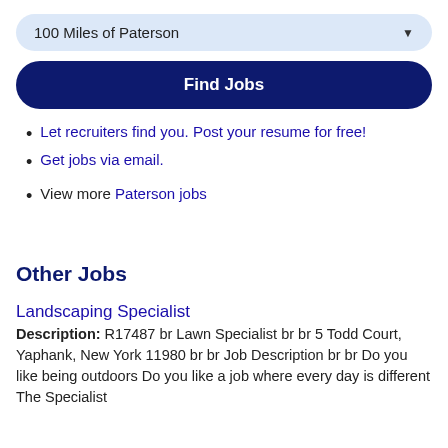[Figure (other): Dropdown selector showing '100 Miles of Paterson' with a down arrow]
[Figure (other): Dark navy blue 'Find Jobs' button]
Let recruiters find you. Post your resume for free!
Get jobs via email.
View more Paterson jobs
Other Jobs
Landscaping Specialist
Description: R17487 br Lawn Specialist br br 5 Todd Court, Yaphank, New York 11980 br br Job Description br br Do you like being outdoors Do you like a job where every day is different The Specialist